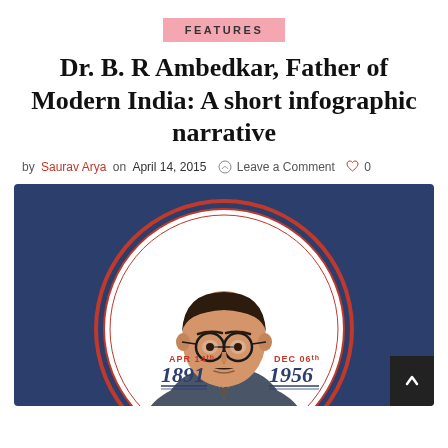FEATURES
Dr. B. R Ambedkar, Father of Modern India: A short infographic narrative
by Saurav Arya on April 14, 2015  Leave a Comment  0
[Figure (illustration): Illustrated infographic portrait of Dr. B. R. Ambedkar in a dark suit and tie, set inside a circular frame with dark navy background. Left side shows 'APR 14th 1891' and right side shows 'DEC 06th 1956' in red and dark italic text. A red ring border surrounds the white circle containing the portrait.]